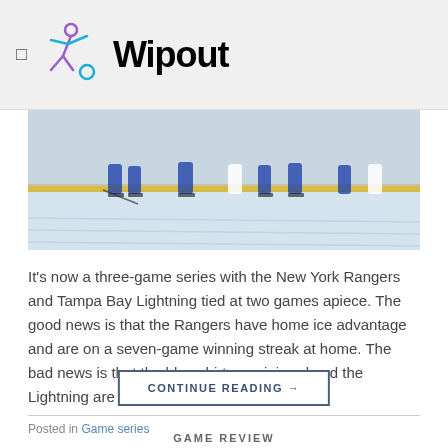Wipout
[Figure (photo): Hockey players on ice rink during a game, seen from behind the boards. Players in blue and white jerseys on the ice.]
It’s now a three-game series with the New York Rangers and Tampa Bay Lightning tied at two games apiece. The good news is that the Rangers have home ice advantage and are on a seven-game winning streak at home. The bad news is that the blue shirts are injured and the Lightning are taking off. [...]
CONTINUE READING →
Posted in Game series
GAME REVIEW